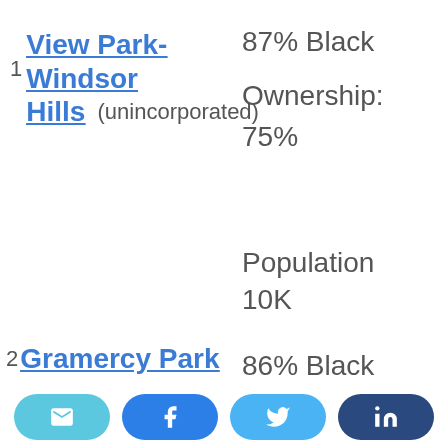1 View Park-Windsor Hills (unincorporated)
87% Black
Ownership: 75%
Population 10K
86% Black
2 Gramercy Park
Ownership: